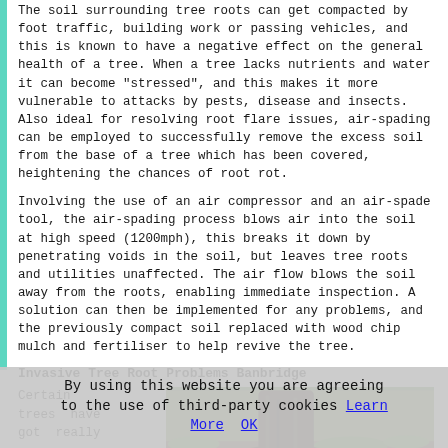The soil surrounding tree roots can get compacted by foot traffic, building work or passing vehicles, and this is known to have a negative effect on the general health of a tree. When a tree lacks nutrients and water it can become "stressed", and this makes it more vulnerable to attacks by pests, disease and insects. Also ideal for resolving root flare issues, air-spading can be employed to successfully remove the excess soil from the base of a tree which has been covered, heightening the chances of root rot.
Involving the use of an air compressor and an air-spade tool, the air-spading process blows air into the soil at high speed (1200mph), this breaks it down by penetrating voids in the soil, but leaves tree roots and utilities unaffected. The air flow blows the soil away from the roots, enabling immediate inspection. A solution can then be implemented for any problems, and the previously compact soil replaced with wood chip mulch and fertiliser to help revive the tree.
Invasive Tree Root Problems Banbridge
Certain trees have got really
[Figure (photo): Photo of tree roots/trunk at ground level showing invasive roots on grass/dirt surface]
By using this website you are agreeing to the use of third-party cookies Learn More OK